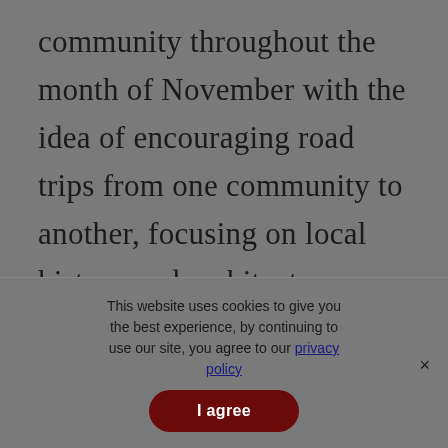community throughout the month of November with the idea of encouraging road trips from one community to another, focusing on local history and architecture, music, food and culture. The Louisiana Main Street coordinating program also
This website uses cookies to give you the best experience, by continuing to use our site, you agree to our privacy policy.